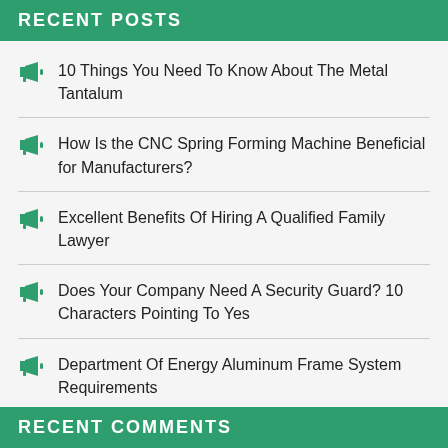RECENT POSTS
10 Things You Need To Know About The Metal Tantalum
How Is the CNC Spring Forming Machine Beneficial for Manufacturers?
Excellent Benefits Of Hiring A Qualified Family Lawyer
Does Your Company Need A Security Guard? 10 Characters Pointing To Yes
Department Of Energy Aluminum Frame System Requirements
RECENT COMMENTS